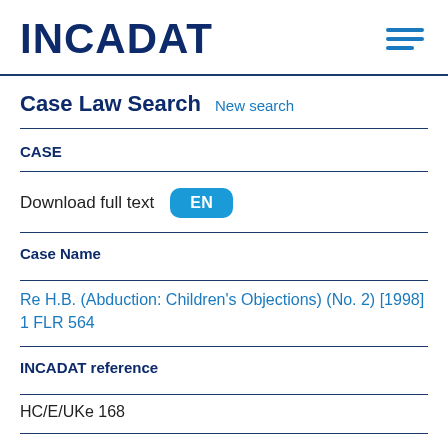INCADAT
Case Law Search  New search
CASE
Download full text  EN
Case Name
Re H.B. (Abduction: Children's Objections) (No. 2) [1998] 1 FLR 564
INCADAT reference
HC/E/UKe 168
Court